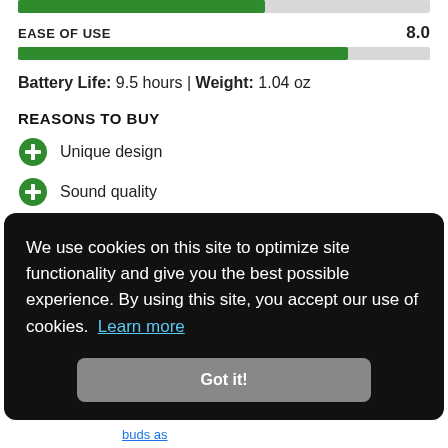[Figure (bar-chart): EASE OF USE]
Battery Life: 9.5 hours | Weight: 1.04 oz
REASONS TO BUY
Unique design
Sound quality
Battery life
We use cookies on this site to optimize site functionality and give you the best possible experience. By using this site, you accept our use of cookies. Learn more
Got it!
buds as